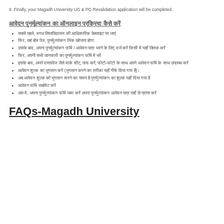9. Finally, your Magadh University UG & PG Revalidation application will be completed.
आवेदन पुनर्मूल्यांकन का ऑनलाइन प्रक्रिया कैसे करें
सबसे पहले, मगध विश्वविद्यालय की आधिकारिक वेबसाइट पर जाएं
फिर, वहां होम पेज, पुनर्मूल्यांकन लिंक खोजना होगा
उसके बाद, अपना पुनर्मूल्यांकन फॉर्म / आवेदन पत्र भरने के लिए दर्ज करें किसी में यहाँ क्लिक करें
फिर, अपनी सभी जानकारी का पुनर्मूल्यांकन फॉर्म में भरें
इसके बाद, अपने दस्तावेज जैसे मार्क शीट, पास करें, फोटो-फोटो के साथ अपने आवेदन फॉर्म के साथ उपलब्ध करें
आवेदन शुल्क का भुगतान करें
अब आवेदन शुल्क को भुगतान करने का समय है पुनर्मूल्यांकन का शुल्क यहाँ दिया गया है
आवेदन फॉर्म सबमिट करें
अंत में, अपना पुनर्मूल्यांकन फॉर्म जमा करें अपना पुनर्मूल्यांकन आवेदन पत्र यहाँ से प्राप्त करें
FAQs-Magadh University